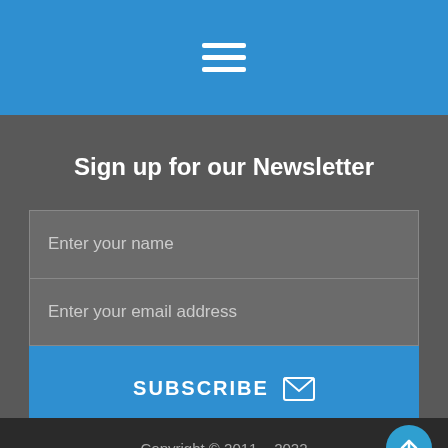[Figure (other): Blue navigation bar with hamburger menu icon (three horizontal white lines)]
Sign up for our Newsletter
[Figure (other): Newsletter signup form with 'Enter your name' text input, 'Enter your email address' text input, and a blue SUBSCRIBE button with envelope icon]
Copyright © 2011 – 2022